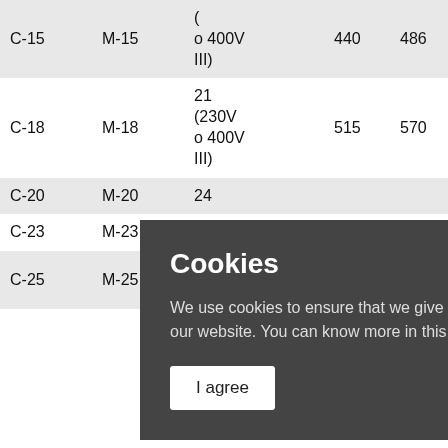| Col1 | Col2 | Spec | V1 | V2 | V3 | V4 |
| --- | --- | --- | --- | --- | --- | --- |
| C-15 | M-15 | (... o 400V III) | 440 | 486 | 545 | 600 |
| C-18 | M-18 | 21 (230V o 400V III) | 515 | 570 | 635 | 700 |
| C-20 | M-20 | 24 ... |  |  |  |  |
| C-23 | M-23 | ... |  |  |  |  |
| C-25 | M-25 | (230V o 400V ... | 730 | 810 | 909 | 1000 |
Cookies
We use cookies to ensure that we give the best user experience on our website. You can know more in this link.
I agree